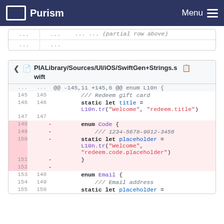Purism  Menu
... ...  (truncated diff rows)
PIALibrary/Sources/UI/iOS/SwiftGen+Strings.swift
| old | new | op | code |
| --- | --- | --- | --- |
| ... | ... |  | @@ -145,11 +145,6 @@ enum L10n { |
| 145 | 145 |  |     /// Redeem gift card |
| 146 | 146 |  |     static let title = L10n.tr("Welcome", "redeem.title") |
| 147 | 147 |  |  |
| 148 |  | − |     enum Code { |
| 149 |  | − |         /// 1234-5678-9012-3456 |
| 150 |  | − |         static let placeholder = L10n.tr("Welcome", "redeem.code.placeholder") |
| 151 |  | − |         } |
| 152 |  | − |  |
| 153 | 148 |  |     enum Email { |
| 154 | 149 |  |         /// Email address |
| 155 | 150 |  |     static let placeholder = |